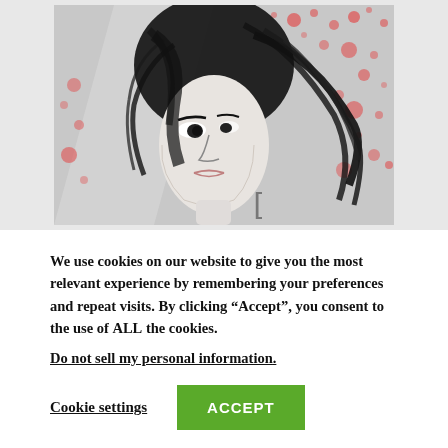[Figure (illustration): Stylized black and white illustration of a woman with dark flowing hair, looking sideways, with red paint splatter in the background on a grey surface.]
We use cookies on our website to give you the most relevant experience by remembering your preferences and repeat visits. By clicking “Accept”, you consent to the use of ALL the cookies.
Do not sell my personal information.
Cookie settings
ACCEPT